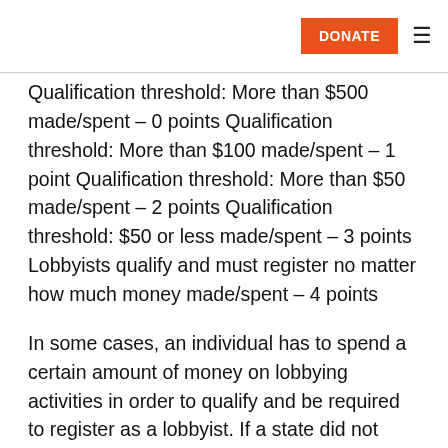DONATE
Qualification threshold: More than $500 made/spent – 0 points Qualification threshold: More than $100 made/spent – 1 point Qualification threshold: More than $50 made/spent – 2 points Qualification threshold: $50 or less made/spent – 3 points Lobbyists qualify and must register no matter how much money made/spent – 4 points
In some cases, an individual has to spend a certain amount of money on lobbying activities in order to qualify and be required to register as a lobbyist. If a state did not have a monetary